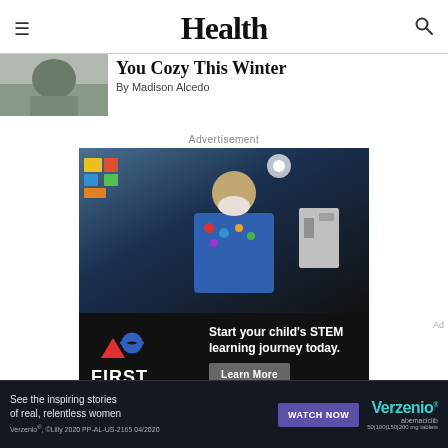Health
You Cozy This Winter
By Madison Alcedo
Advertisement
[Figure (photo): Advertisement photo showing a girl wearing a mask and blue t-shirt with badges at what appears to be a STEM/robotics event. Bottom panel shows FIRST robotics logo with text 'Start your child's STEM learning journey today.' and a 'Learn More' button.]
[Figure (photo): Bottom banner advertisement for Verzenio (abemaciclib) showing text 'See the inspiring stories of real, relentless women' with a WATCH NOW button, Verzenio logo, and disclaimer text 'Verzenio, CLilly 2020 PP-AL-US-2165 04/2020']